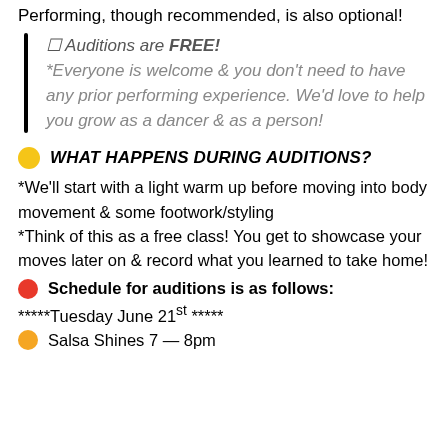Performing, though recommended, is also optional!
☐ Auditions are FREE! *Everyone is welcome & you don't need to have any prior performing experience. We'd love to help you grow as a dancer & as a person!
🟡 WHAT HAPPENS DURING AUDITIONS?
*We'll start with a light warm up before moving into body movement & some footwork/styling *Think of this as a free class! You get to showcase your moves later on & record what you learned to take home!
🔴 Schedule for auditions is as follows:
*****Tuesday June 21st *****
🟠 Salsa Shines 7 — 8pm